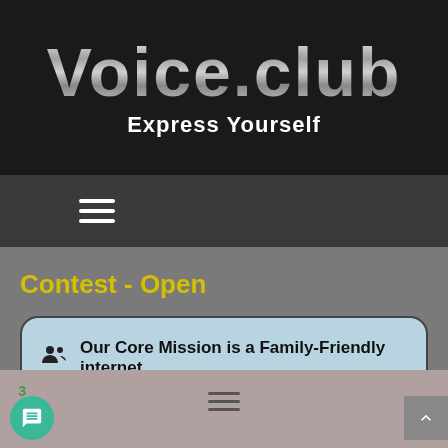[Figure (logo): Voice.club logo with metallic silver gradient text on dark background, with tagline 'Express Yourself' in white bold text below]
[Figure (screenshot): Dark grey navigation bar with white hamburger menu icon (three horizontal lines)]
Contest - Open
Our Core Mission is a Family-Friendly internet
[Figure (screenshot): Footer/bottom bar area with number 3, hamburger icon, green chat bubble button, and grey scroll-to-top arrow button]